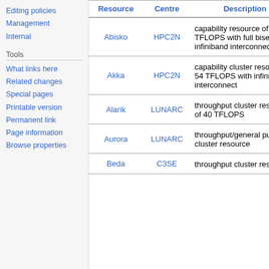Editing policies
Management
Internal
Tools
What links here
Related changes
Special pages
Printable version
Permanent link
Page information
Browse properties
| Resource | Centre | Description |
| --- | --- | --- |
| Abisko | HPC2N | capability resource of 153 TFLOPS with full bisectional infiniband interconnect |
| Akka | HPC2N | capability cluster resource of 54 TFLOPS with infiniband interconnect |
| Alarik | LUNARC | throughput cluster resource of 40 TFLOPS |
| Aurora | LUNARC | throughput/general purpose cluster resource |
| Beda | C3SE | throughput cluster resource |